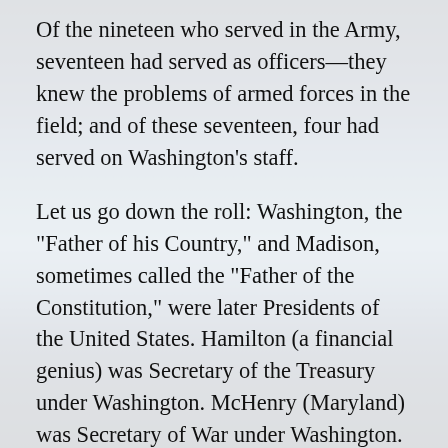Of the nineteen who served in the Army, seventeen had served as officers—they knew the problems of armed forces in the field; and of these seventeen, four had served on Washington's staff.
Let us go down the roll: Washington, the “Father of his Country,” and Madison, sometimes called the “Father of the Constitution,” were later Presidents of the United States. Hamilton (a financial genius) was Secretary of the Treasury under Washington. McHenry (Maryland) was Secretary of War under Washington. Randolph (Virginia) acted as Attorney General for Washington and later as his Secretary of State. Rutledge (South Carolina), a distinguished jurist, was later Chief Justice in the United States Supreme Court. Oliver Ellsworth (absent when the Constitution was signed) was also later a Chief Justice of the Supreme Court. Blair, Paterson, and Wilson were later Justices of the Supreme Court.